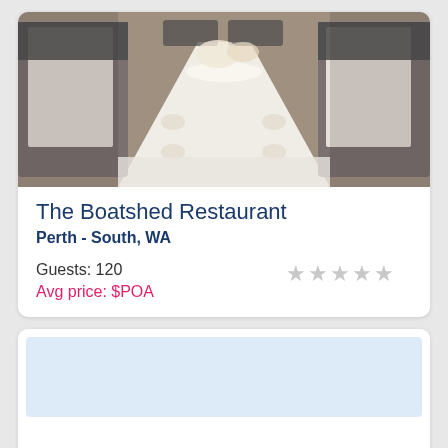[Figure (photo): Photo of an elegantly set long dining table with white tablecloth and black-and-white chair covers in a restaurant setting]
The Boatshed Restaurant
Perth - South, WA
Guests: 120
Avg price: $POA
[Figure (screenshot): Second venue card placeholder with light blue header band and white content area, content loading]